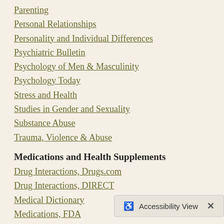Parenting
Personal Relationships
Personality and Individual Differences
Psychiatric Bulletin
Psychology of Men & Masculinity
Psychology Today
Stress and Health
Studies in Gender and Sexuality
Substance Abuse
Trauma, Violence & Abuse
Medications and Health Supplements
Drug Interactions, Drugs.com
Drug Interactions, DIRECT
Medical Dictionary
Medications, FDA
Medication, Internet Mental Health
Medications, PDR
Medline, Comparison
Multivitamins
Mental Health Care General Links
CounsellingResource.co…